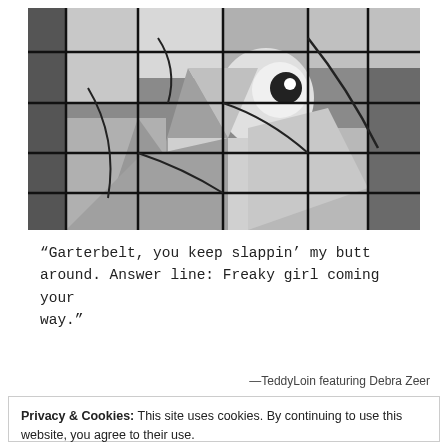[Figure (illustration): Black and white cubist-style illustration of a face, divided by a grid of dark lines into rectangular panels, resembling a stained glass or mosaic artwork.]
“Garterbelt, you keep slappin’ my butt around. Answer line: Freaky girl coming your way.”
—TeddyLoin featuring Debra Zeer
Privacy & Cookies: This site uses cookies. By continuing to use this website, you agree to their use.
To find out more, including how to control cookies, see here: Cookie Policy
Close and accept